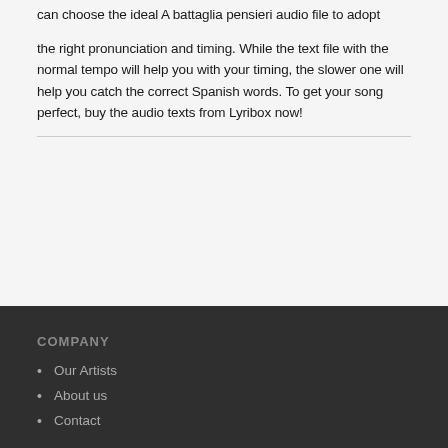other with a bit slowed version. Based on your preference you can choose the ideal A battaglia pensieri audio file to adopt the right pronunciation and timing. While the text file with the normal tempo will help you with your timing, the slower one will help you catch the correct Spanish words. To get your song perfect, buy the audio texts from Lyribox now!
COMPANY
Our Artists
About us
Contact